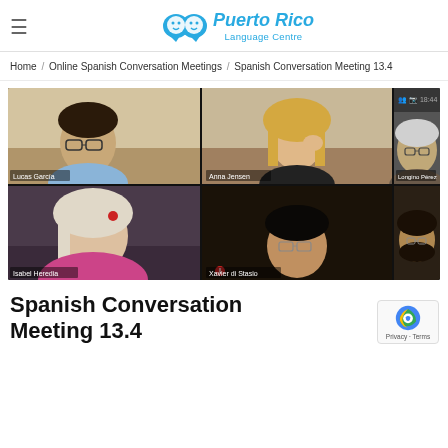Puerto Rico Language Centre
Home / Online Spanish Conversation Meetings / Spanish Conversation Meeting 13.4
[Figure (photo): Screenshot of an online video meeting (Zoom/similar) showing 5 participants: a young man with glasses (top left), a blonde woman (top center), an older man with glasses (top right), a woman with light hair in pink (bottom left), and a man with beard/glasses (bottom right).]
Spanish Conversation Meeting 13.4